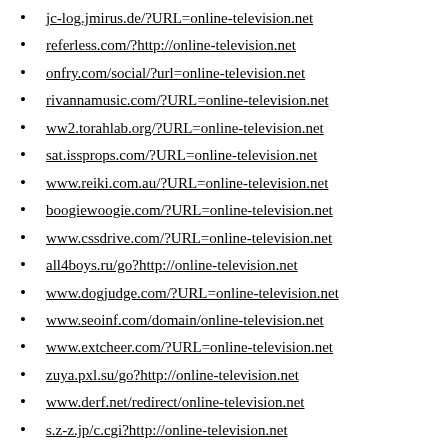jc-log.jmirus.de/?URL=online-television.net
referless.com/?http://online-television.net
onfry.com/social/?url=online-television.net
rivannamusic.com/?URL=online-television.net
ww2.torahlab.org/?URL=online-television.net
sat.issprops.com/?URL=online-television.net
www.reiki.com.au/?URL=online-television.net
boogiewoogie.com/?URL=online-television.net
www.cssdrive.com/?URL=online-television.net
all4boys.ru/go?http://online-television.net
www.dogjudge.com/?URL=online-television.net
www.seoinf.com/domain/online-television.net
www.extcheer.com/?URL=online-television.net
zuya.pxl.su/go?http://online-television.net
www.derf.net/redirect/online-television.net
s.z-z.jp/c.cgi?http://online-television.net
1494.kz/go?url=http://online-television.net
ongab.ru/go?to=http://online-television.net
alcogol.su/go.php?url=online-television.net